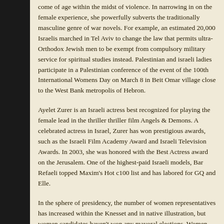come of age within the midst of violence. In narrowing in on the female experience, she powerfully subverts the traditionally masculine genre of war novels. For example, an estimated 20,000 Israelis marched in Tel Aviv to change the law that permits ultra-Orthodox Jewish men to be exempt from compulsory military service for spiritual studies instead. Palestinian and israeli ladies participate in a Palestinian conference of the event of the 100th International Womens Day on March 8 in Beit Omar village close to the West Bank metropolis of Hebron.
Ayelet Zurer is an Israeli actress best recognized for playing the female lead in the thriller thriller film Angels & Demons. A celebrated actress in Israel, Zurer has won prestigious awards, such as the Israeli Film Academy Award and Israeli Television Awards. In 2003, she was honored with the Best Actress award on the Jerusalem. One of the highest-paid Israeli models, Bar Refaeli topped Maxim's Hot 100 list and has labored for GQ and Elle.
In the sphere of presidency, the number of women representatives has increased within the Knesset and in native illustration, but women candidates haven't won any mayoral elections. Women work in nearly all areas of the civil service, but there is construction of excessive illustration at the lower levels and minimal illustration at the ranks fully applies.
The Western Wall is the last remnant of the Second Jewish Temple, built around 516 B.C. Bowing to political pressure from the ultra-Orthodox even in his government, Netanyahu quickly scrapped the plan. Women's rights advocates see a silver lining in the diverse coalition's lack of ideological accord. Because the government intends to avoid controversial topics that could result in its collapse, the result is that the Palestinian ladies do not have from a woman a chance and